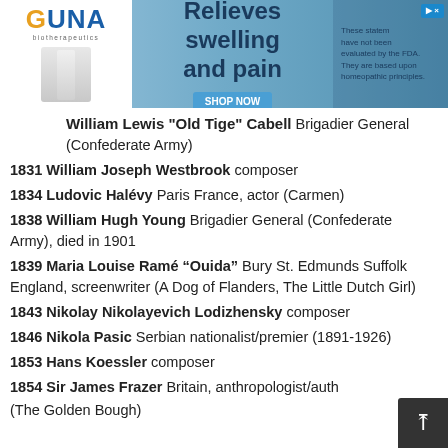[Figure (other): GUNA biotherapeutics advertisement banner - 'Relieves swelling and pain' with SHOP NOW button]
William Lewis 'Old Tige' Cabell Brigadier General (Confederate Army)
1831 William Joseph Westbrook composer
1834 Ludovic Halévy Paris France, actor (Carmen)
1838 William Hugh Young Brigadier General (Confederate Army), died in 1901
1839 Maria Louise Ramé "Ouida" Bury St. Edmunds Suffolk England, screenwriter (A Dog of Flanders, The Little Dutch Girl)
1843 Nikolay Nikolayevich Lodizhensky composer
1846 Nikola Pasic Serbian nationalist/premier (1891-1926)
1853 Hans Koessler composer
1854 Sir James Frazer Britain, anthropologist/auth (The Golden Bough)